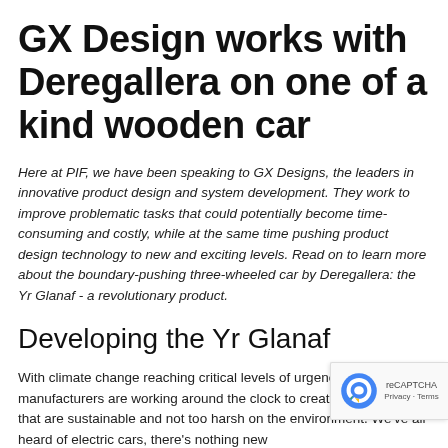GX Design works with Deregallera on one of a kind wooden car
Here at PIF, we have been speaking to GX Designs, the leaders in innovative product design and system development. They work to improve problematic tasks that could potentially become time-consuming and costly, while at the same time pushing product design technology to new and exciting levels. Read on to learn more about the boundary-pushing three-wheeled car by Deregallera: the Yr Glanaf - a revolutionary product.
Developing the Yr Glanaf
With climate change reaching critical levels of urgency, manufacturers are working around the clock to create new models that are sustainable and not too harsh on the environment. We've all heard of electric cars, there's nothing new